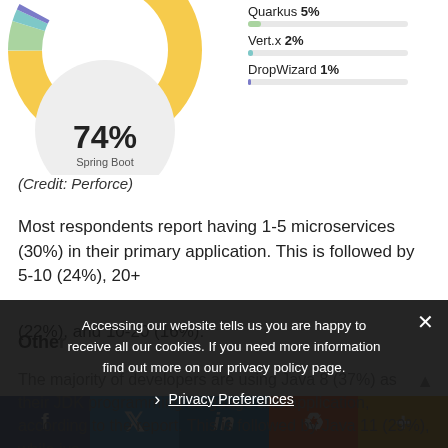[Figure (donut-chart): Spring Boot usage]
(Credit: Perforce)
Most respondents report having 1-5 microservices (30%) in their primary application. This is followed by 5-10 (24%), 20+ (22%), and 10-20 (16%).
Other
The majority of developers are using Java 8 (37%) as their JDK programming language and application, according to the report. This is followed by Java 11 (29%), while jus